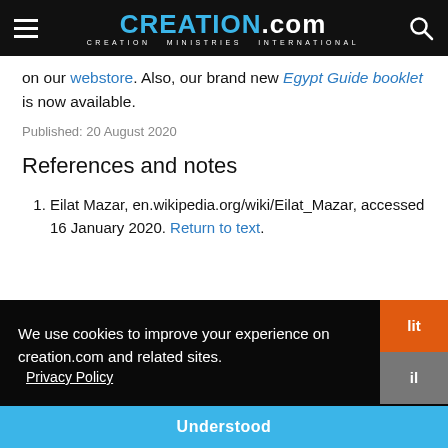CREATION.com — CREATION MINISTRIES INTERNATIONAL
on our webstore. Also, our brand new Egypt Guide booklet is now available.
Published: 20 August 2020
References and notes
1. Eilat Mazar, en.wikipedia.org/wiki/Eilat_Mazar, accessed 16 January 2020. Return to text.
We use cookies to improve your experience on creation.com and related sites. Privacy Policy
Understood